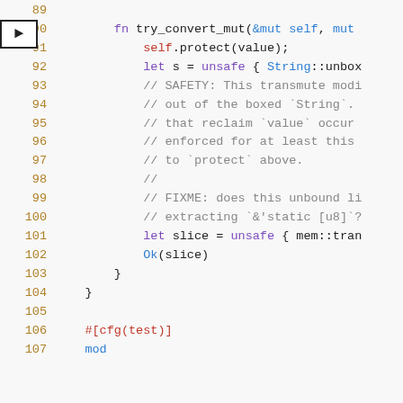[Figure (screenshot): Rust source code snippet showing lines 89-107, with syntax highlighting. Line 90 is marked with an arrow gutter indicator. Code includes fn try_convert_mut, self.protect(value), unsafe blocks, comments about SAFETY and FIXME, and #[cfg(test)] attribute.]